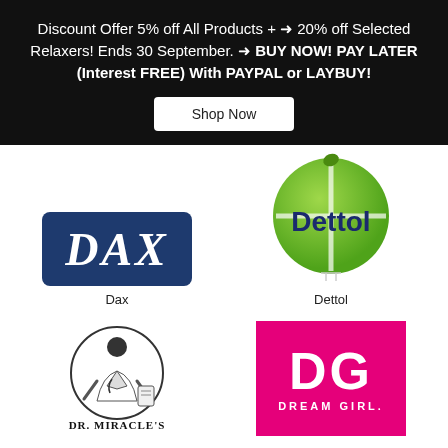Discount Offer 5% off All Products + → 20% off Selected Relaxers! Ends 30 September. → BUY NOW! PAY LATER (Interest FREE) With PAYPAL or LAYBUY!
Shop Now
[Figure (logo): DAX logo — white italic serif text on dark navy blue rounded rectangle]
[Figure (logo): Dettol logo — green circle with white cross and 'Dettol' text in dark navy]
Dax
Dettol
[Figure (logo): Dr. Miracle's logo — black and white circular illustration of a doctor figure with 'DR. MIRACLE'S' text]
[Figure (logo): Dream Girl logo — white 'DG' letters and 'DREAM GIRL.' text on hot pink/magenta background]